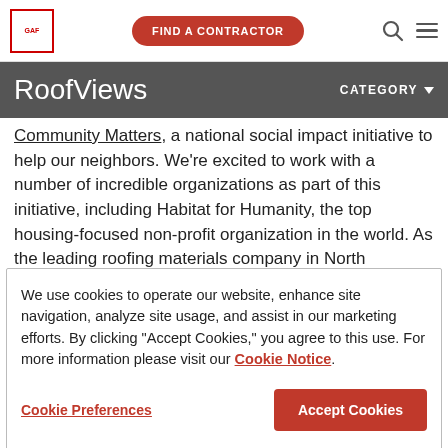[Figure (logo): GAF logo in red border square]
FIND A CONTRACTOR | search icon | menu icon
RoofViews  CATEGORY
Community Matters, a national social impact initiative to help our neighbors. We're excited to work with a number of incredible organizations as part of this initiative, including Habitat for Humanity, the top housing-focused non-profit organization in the world. As the leading roofing materials company in North America,
We use cookies to operate our website, enhance site navigation, analyze site usage, and assist in our marketing efforts. By clicking "Accept Cookies," you agree to this use. For more information please visit our Cookie Notice.
Cookie Preferences  Accept Cookies